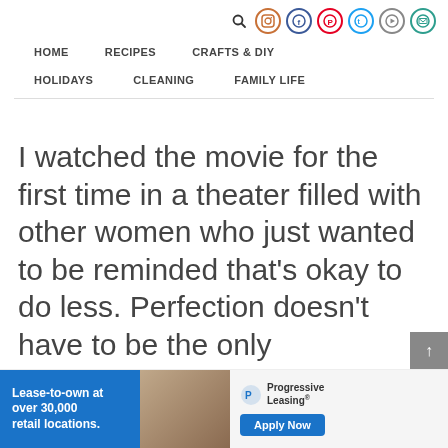HOME   RECIPES   CRAFTS & DIY   HOLIDAYS   CLEANING   FAMILY LIFE
I watched the movie for the first time in a theater filled with other women who just wanted to be reminded that’s okay to do less. Perfection doesn’t have to be the only expectation
[Figure (infographic): Advertisement banner: Lease-to-own at over 30,000 retail locations. Progressive Leasing. Apply Now.]